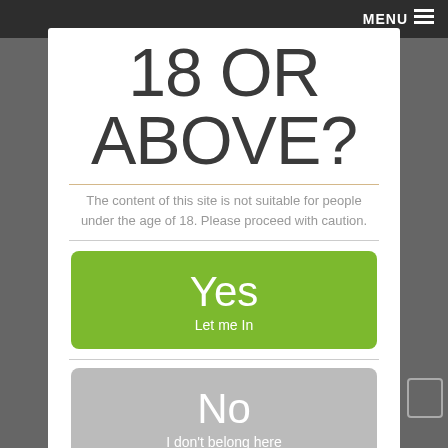MENU
18 OR ABOVE?
The content of this site is not suitable for people under the age of 18. Please proceed with caution.
Yes
Let me In
No
I don't belong here